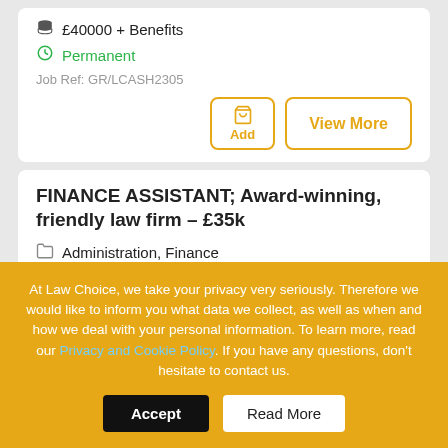£40000 + Benefits
Permanent
Job Ref: GR/LCASH2305
FINANCE ASSISTANT; Award-winning, friendly law firm – £35k
Administration, Finance
UK, London
£35000
Permanent
At Law Choice, we take your privacy very seriously. Therefore we would like to inform you what data we collect, as well as when and how we deal with your personal information. To learn more, read our Privacy and Cookie Policy. If you have any questions, don't hesitate to contact us.